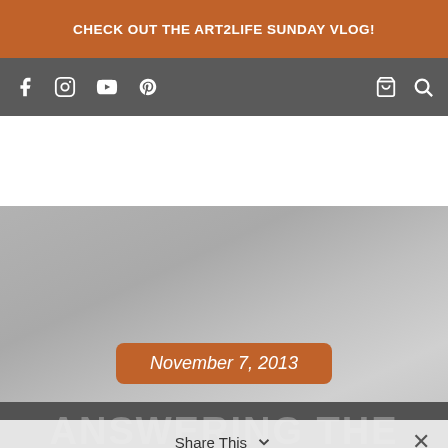CHECK OUT THE ART2LIFE SUNDAY VLOG!
[Figure (screenshot): Navigation bar with social media icons (Facebook, Instagram, YouTube, Pinterest) on left and shopping cart and search icons on right, on a dark gray background]
[Figure (photo): Large gray placeholder image area with a date badge reading 'November 7, 2013' in white italic text on an orange rounded rectangle]
ANSWERING THE
Share This